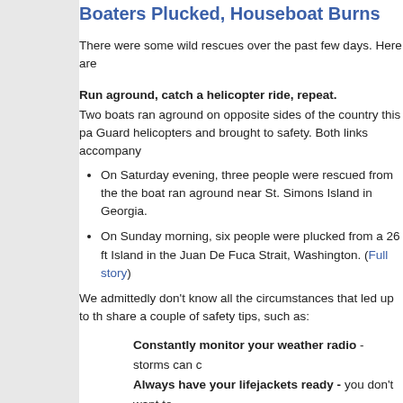Boaters Plucked, Houseboat Burns
There were some wild rescues over the past few days. Here are
Run aground, catch a helicopter ride, repeat.
Two boats ran aground on opposite sides of the country this pa Guard helicopters and brought to safety. Both links accompany
On Saturday evening, three people were rescued from the the boat ran aground near St. Simons Island in Georgia.
On Sunday morning, six people were plucked from a 26 ft Island in the Juan De Fuca Strait, Washington. (Full story)
We admittedly don't know all the circumstances that led up to th share a couple of safety tips, such as:
Constantly monitor your weather radio - storms can c
Always have your lifejackets ready - you don't want to
Make sure your VHF radio works - you want to be able
(More on the FirstBoat boating safety page).
Burning to the bottom of the lake
On Saturday morning, a 35-foot houseboat burned to the frame another boat without injury. (Full story)